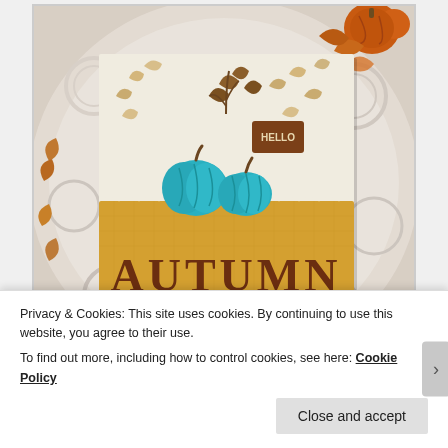[Figure (photo): A handmade autumn craft card with teal pumpkins and the word AUTUMN on a golden/mustard background, surrounded by fall leaves and orange pumpkins on a white lace doily backdrop.]
Hello Autumn indeed! The card base ended up being the most important element on this card, as it provides the
Privacy & Cookies: This site uses cookies. By continuing to use this website, you agree to their use.
To find out more, including how to control cookies, see here: Cookie Policy